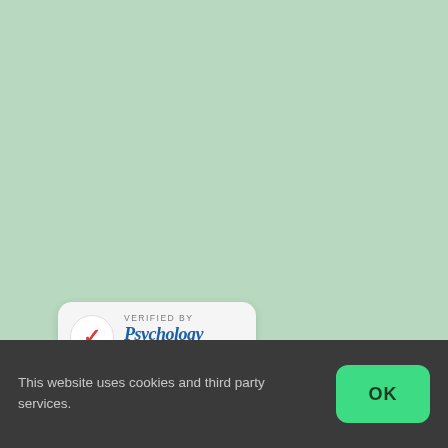[Figure (logo): Verified by Psychology Today badge: white/light gray rounded rectangle with a red checkmark in a circle on the left, and 'VERIFIED BY' in small caps above 'Psychology Today' in bold italic blue text.]
This website uses cookies and third party services.
OK